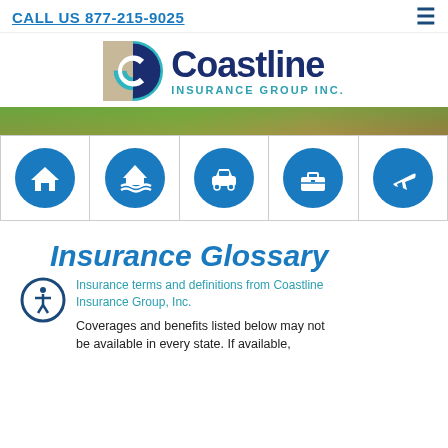CALL US 877-215-9025
[Figure (logo): Coastline Insurance Group Inc. logo with teal/navy circular C icon and company name]
[Figure (photo): Decorative banner photo showing green lawn and flowers]
[Figure (infographic): Row of five blue circular icons representing: home insurance, flood insurance, auto insurance, business/briefcase insurance, and travel/aviation insurance]
Insurance Glossary
Insurance terms and definitions from Coastline Insurance Group, Inc.
Coverages and benefits listed below may not be available in every state. If available,